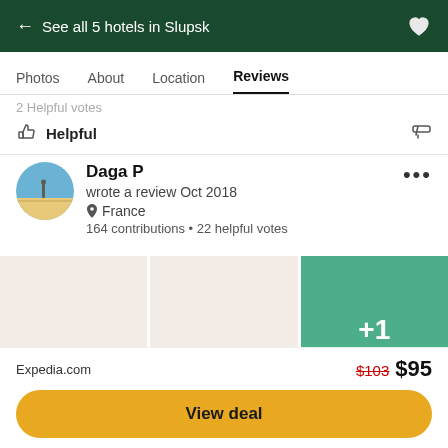← See all 5 hotels in Slupsk
Photos   About   Location   Reviews
2 Helpful votes
Helpful
Daga P
wrote a review Oct 2018
France
164 contributions • 22 helpful votes
[Figure (photo): Three image thumbnails in a strip: two beige/tan placeholder images and one green panel with '+1' text overlay]
Expedia.com   $103  $95
View deal